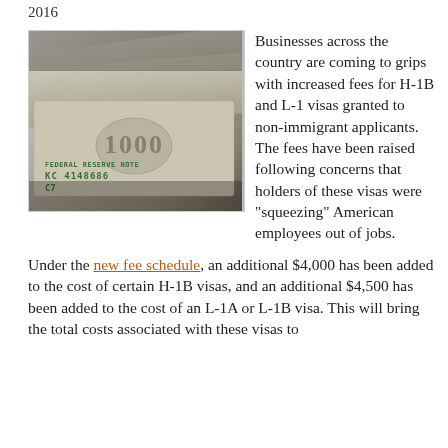2016
[Figure (photo): Close-up photograph of US dollar bills, showing Federal Reserve Note with serial number KC 4148686, C7]
Businesses across the country are coming to grips with increased fees for H-1B and L-1 visas granted to non-immigrant applicants. The fees have been raised following concerns that holders of these visas were “squeezing” American employees out of jobs.
Under the new fee schedule, an additional $4,000 has been added to the cost of certain H-1B visas, and an additional $4,500 has been added to the cost of an L-1A or L-1B visa. This will bring the total costs associated with these visas to